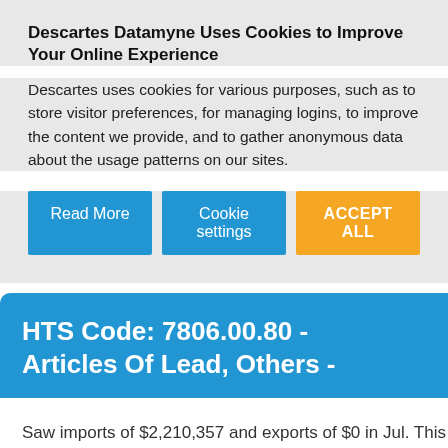Descartes Datamyne Uses Cookies to Improve Your Online Experience
Descartes uses cookies for various purposes, such as to store visitor preferences, for managing logins, to improve the content we provide, and to gather anonymous data about the usage patterns on our sites.
Read More
Cookie settings
ACCEPT ALL
HTS Code: 7806.00.80 - Articles Of Lead, Others -
Saw imports of $2,210,357 and exports of $0 in Jul. This is a change of 89.02% and 100% respectively from the month Jul of 2019. This data is derived from Datamyne, using US import and export trade data released by the US Census